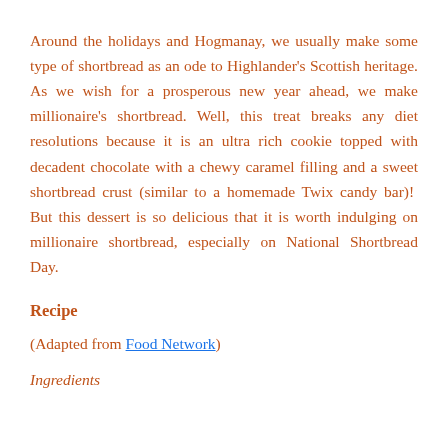Around the holidays and Hogmanay, we usually make some type of shortbread as an ode to Highlander's Scottish heritage. As we wish for a prosperous new year ahead, we make millionaire's shortbread. Well, this treat breaks any diet resolutions because it is an ultra rich cookie topped with decadent chocolate with a chewy caramel filling and a sweet shortbread crust (similar to a homemade Twix candy bar)! But this dessert is so delicious that it is worth indulging on millionaire shortbread, especially on National Shortbread Day.
Recipe
(Adapted from Food Network)
Ingredients